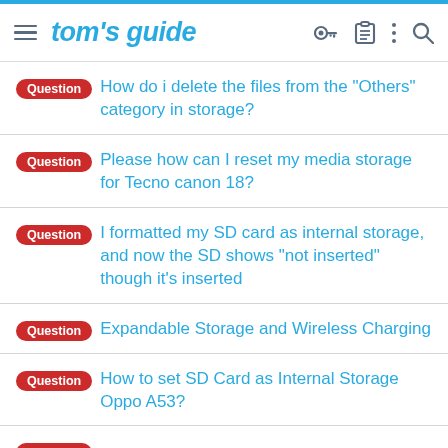tom's guide
Question  How do i delete the files from the "Others" category in storage?
Question  Please how can I reset my media storage for Tecno canon 18?
Question  I formatted my SD card as internal storage, and now the SD shows "not inserted" though it's inserted
Question  Expandable Storage and Wireless Charging
Question  How to set SD Card as Internal Storage Oppo A53?